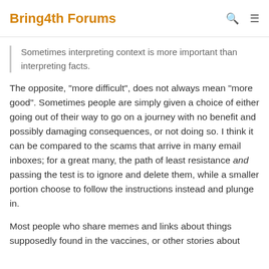Bring4th Forums
Sometimes interpreting context is more important than interpreting facts.
The opposite, "more difficult", does not always mean "more good". Sometimes people are simply given a choice of either going out of their way to go on a journey with no benefit and possibly damaging consequences, or not doing so. I think it can be compared to the scams that arrive in many email inboxes; for a great many, the path of least resistance and passing the test is to ignore and delete them, while a smaller portion choose to follow the instructions instead and plunge in.
Most people who share memes and links about things supposedly found in the vaccines, or other stories about